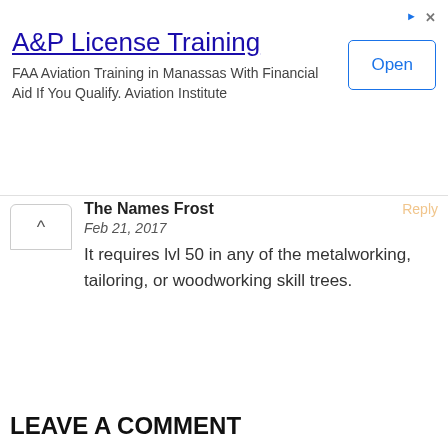[Figure (other): Advertisement banner: A&P License Training - FAA Aviation Training in Manassas With Financial Aid If You Qualify. Aviation Institute. With an 'Open' button.]
The Names Frost
Feb 21, 2017
It requires lvl 50 in any of the metalworking, tailoring, or woodworking skill trees.
Daddyoldgunz
Jan 15, 2017
Totally awesome. Im gonna start farming. Again. Totally hooked
LEAVE A COMMENT